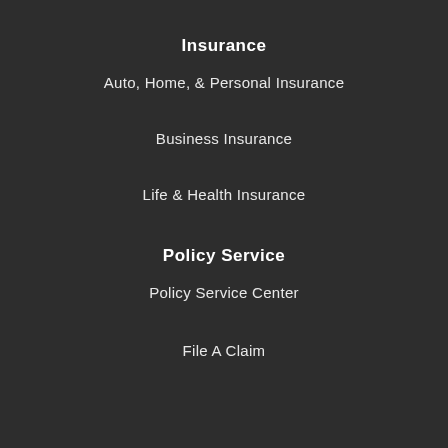Insurance
Auto, Home, & Personal Insurance
Business Insurance
Life & Health Insurance
Policy Service
Policy Service Center
File A Claim